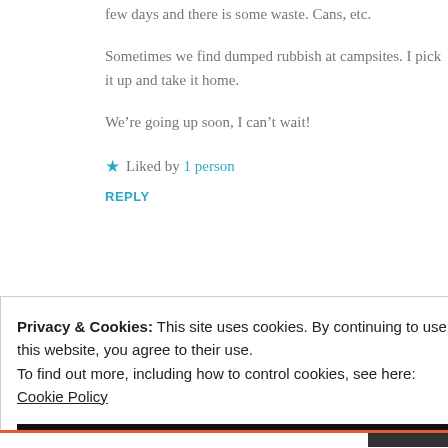few days and there is some waste. Cans, etc.
Sometimes we find dumped rubbish at campsites. I pick it up and take it home.
We’re going up soon, I can’t wait!
★ Liked by 1 person
REPLY
Privacy & Cookies: This site uses cookies. By continuing to use this website, you agree to their use. To find out more, including how to control cookies, see here: Cookie Policy
CLOSE AND ACCEPT